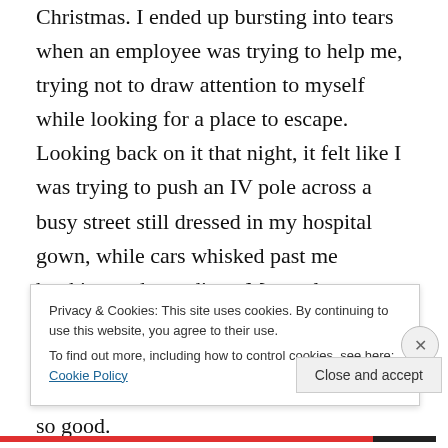Christmas. I ended up bursting into tears when an employee was trying to help me, trying not to draw attention to myself while looking for a place to escape. Looking back on it that night, it felt like I was trying to push an IV pole across a busy street still dressed in my hospital gown, while cars whisked past me honking and speeding.  My goal was to get my weak little self all the way across that street, and I did, but sat down and cried on the bench once I got there.  Not so good.
Later I read three notes from three different friends who didn't know each other, but all said the same thing – that I
Privacy & Cookies: This site uses cookies. By continuing to use this website, you agree to their use.
To find out more, including how to control cookies, see here: Cookie Policy